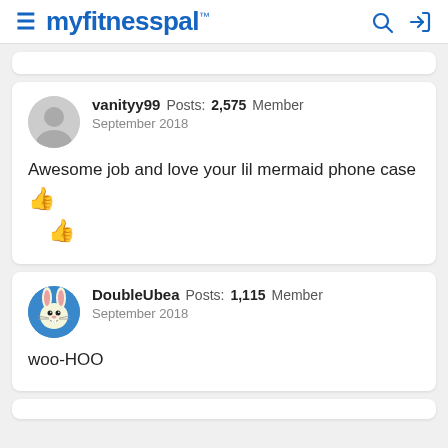myfitnesspal
vanityy99  Posts: 2,575  Member
September 2018

Awesome job and love your lil mermaid phone case 👍👍
DoubleUbea  Posts: 1,115  Member
September 2018

woo-HOO